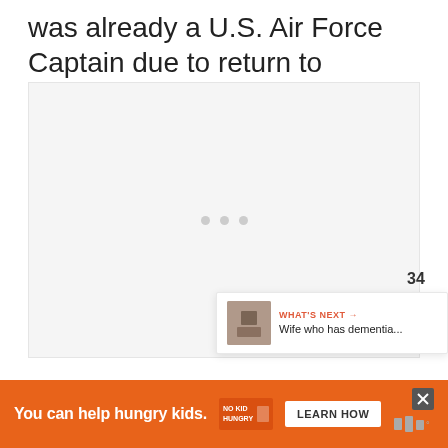was already a U.S. Air Force Captain due to return to Europe.
[Figure (photo): Image placeholder with loading dots, light gray background]
[Figure (infographic): Like button (heart, red circle), count 34, and share button on right side]
34
WHAT'S NEXT → Wife who has dementia...
[Figure (photo): Thumbnail image for next article about wife with dementia]
You can help hungry kids.
[Figure (logo): No Kid Hungry logo]
LEARN HOW